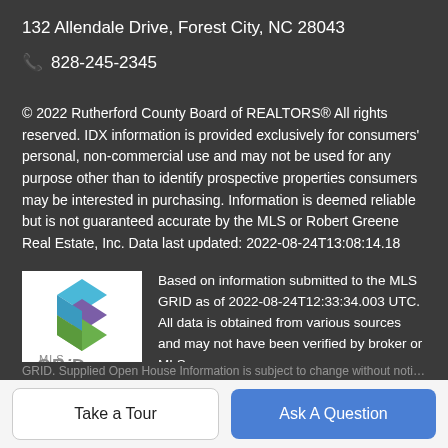132 Allendale Drive, Forest City, NC 28043
☎ 828-245-2345
© 2022 Rutherford County Board of REALTORS® All rights reserved. IDX information is provided exclusively for consumers' personal, non-commercial use and may not be used for any purpose other than to identify prospective properties consumers may be interested in purchasing. Information is deemed reliable but is not guaranteed accurate by the MLS or Robert Greene Real Estate, Inc. Data last updated: 2022-08-24T13:08:14.18
[Figure (logo): MLS GRID logo with stacked colored squares in blue, purple, and green above the text 'MLS GRID']
Based on information submitted to the MLS GRID as of 2022-08-24T12:33:34.003 UTC. All data is obtained from various sources and may not have been verified by broker or MLS GRID. Supplied Open House Information is subject to change...